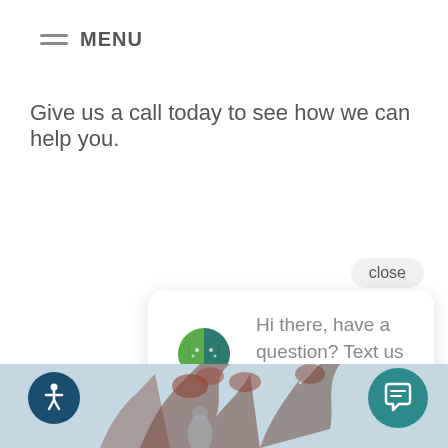≡ MENU
Give us a call today to see how we can help you.
close
[Figure (screenshot): Chat popup card with a green heart logo and message text: Hi there, have a question? Text us here.]
[Figure (photo): Bottom strip showing an outdoor scene with trees and light blue sky, partially visible.]
[Figure (other): Accessibility icon button (person with circle) in dark blue at bottom left]
[Figure (other): Chat speech bubble icon button in teal at bottom right]